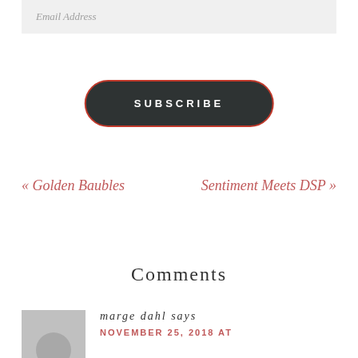Email Address
SUBSCRIBE
« Golden Baubles
Sentiment Meets DSP »
Comments
marge dahl says
NOVEMBER 25, 2018 AT